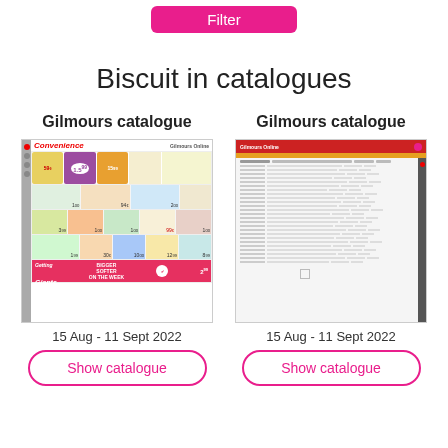Filter
Biscuit in catalogues
Gilmours catalogue
[Figure (screenshot): Thumbnail of a Gilmours supermarket catalogue page showing convenience products with prices, dated 15 Aug - 11 Sept 2022]
15 Aug - 11 Sept 2022
Show catalogue
Gilmours catalogue
[Figure (screenshot): Thumbnail of a Gilmours catalogue page showing a product list/price list in tabular format with red and orange header bar, dated 15 Aug - 11 Sept 2022]
15 Aug - 11 Sept 2022
Show catalogue